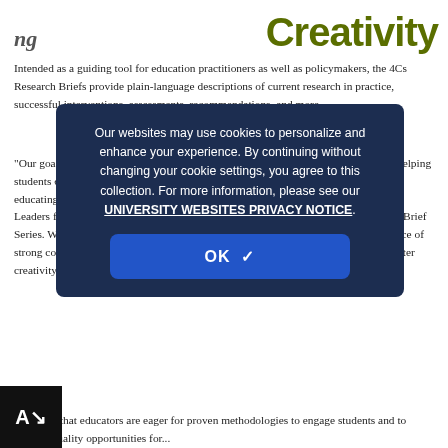Creativity
Intended as a guiding tool for education practitioners as well as policymakers, the 4Cs Research Briefs provide plain-language descriptions of current research in practice, successful interventions, assessments, recommendations, and more.
"Our goal is to provide educators with a clear picture of what we really know about helping students develop higher critical skills, and the good news is that the evidence base for educating students' 21st-century competencies is growing." —Jonathan Plucker, New Leaders for New Schools' national leadership fellow, and author of the 4Cs Research Brief Series. While more research is needed in certain areas, we found considerable evidence of strong conceptual, intervention, and assessment work that can guide our efforts to foster creativity, critical thinking, and communication in our children.
[Figure (screenshot): Cookie consent overlay dialog on dark navy background reading: Our websites may use cookies to personalize and enhance your experience. By continuing without changing your cookie settings, you agree to this collection. For more information, please see our UNIVERSITY WEBSITES PRIVACY NOTICE. With an OK button below.]
We know that educators are eager for proven methodologies to engage students and to provide quality opportunities for...